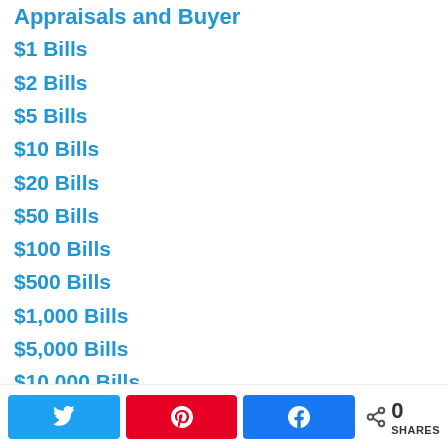Appraisals and Buyer
$1 Bills
$2 Bills
$5 Bills
$10 Bills
$20 Bills
$50 Bills
$100 Bills
$500 Bills
$1,000 Bills
$5,000 Bills
$10,000 Bills
3 Cent Notes
0 SHARES